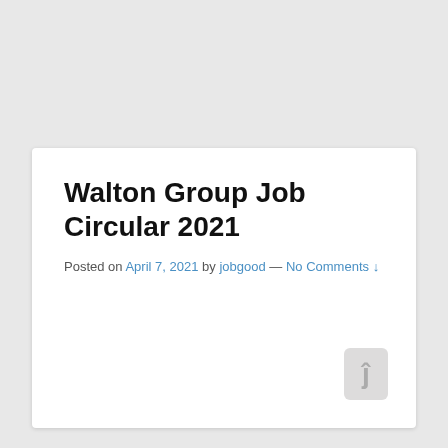Walton Group Job Circular 2021
Posted on April 7, 2021 by jobgood — No Comments ↓